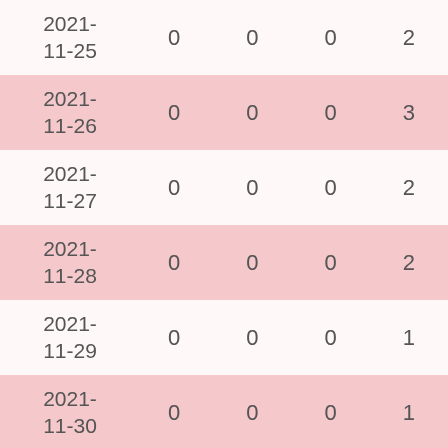| Date | Col1 | Col2 | Col3 | Col4 |
| --- | --- | --- | --- | --- |
| 2021-11-25 | 0 | 0 | 0 | 2… |
| 2021-11-26 | 0 | 0 | 0 | 3… |
| 2021-11-27 | 0 | 0 | 0 | 2… |
| 2021-11-28 | 0 | 0 | 0 | 2… |
| 2021-11-29 | 0 | 0 | 0 | 1… |
| 2021-11-30 | 0 | 0 | 0 | 1… |
| October 2021 | 0 | 0 | 1 | 3… |
| September … | 0 | 0 | 3 | … |